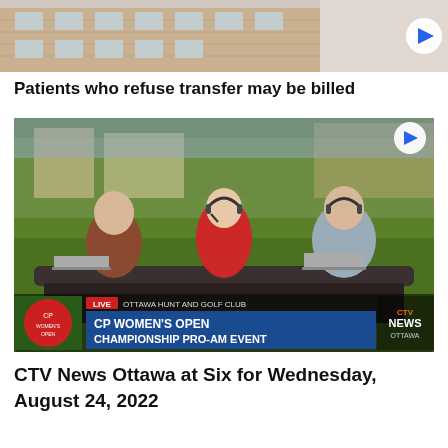[Figure (screenshot): Top portion of a video thumbnail showing a building with beige/tan brickwork and a play button on the right side]
Patients who refuse transfer may be billed
[Figure (screenshot): CTV News Ottawa broadcast screenshot showing three broadcasters seated at a dark desk outdoors at Ottawa Hunt and Golf Club with lower-third graphic reading: LIVE OTTAWA HUNT AND GOLF CLUB CP WOMEN'S OPEN CHAMPIONSHIP PRO-AM EVENT, with CTV News Ottawa logo and CP Women's Open logo. Play button visible at bottom right.]
CTV News Ottawa at Six for Wednesday, August 24, 2022